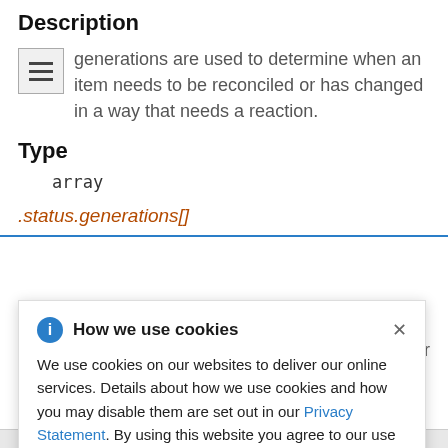Description
generations are used to determine when an item needs to be reconciled or has changed in a way that needs a reaction.
Type
array
.status.generations[]
How we use cookies
We use cookies on our websites to deliver our online services. Details about how we use cookies and how you may disable them are set out in our Privacy Statement. By using this website you agree to our use of cookies.
eneration for
ut forced